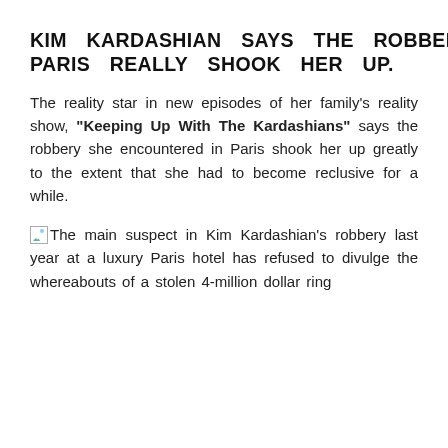KIM KARDASHIAN SAYS THE ROBBERY IN PARIS REALLY SHOOK HER UP.
The reality star in new episodes of her family's reality show, "Keeping Up With The Kardashians" says the robbery she encountered in Paris shook her up greatly to the extent that she had to become reclusive for a while.
The main suspect in Kim Kardashian's robbery last year at a luxury Paris hotel has refused to divulge the whereabouts of a stolen 4-million dollar ring